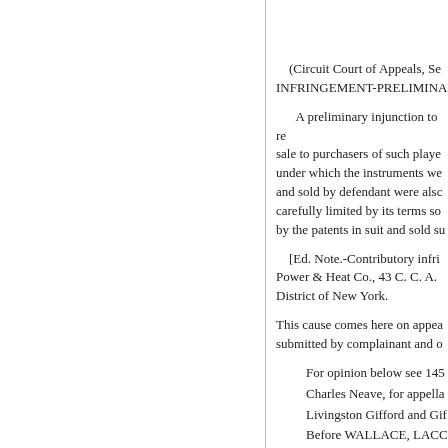(Circuit Court of Appeals, Se INFRINGEMENT-PRELIMINA
A preliminary injunction to re sale to purchasers of such playe under which the instruments we and sold by defendant were alsc carefully limited by its terms so by the patents in suit and sold su
[Ed. Note.-Contributory infri Power & Heat Co., 43 C. C. A. District of New York.
This cause comes here on appea submitted by complainant and o
For opinion below see 145
Charles Neave, for appella
Livingston Gifford and Gif
Before WALLACE, LACC
PER CURIAM. Complainant fo